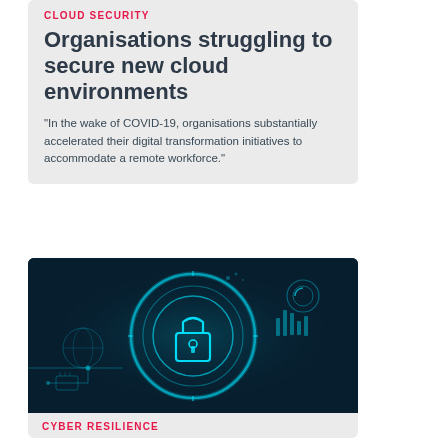CLOUD SECURITY
Organisations struggling to secure new cloud environments
“In the wake of COVID-19, organisations substantially accelerated their digital transformation initiatives to accommodate a remote workforce."
[Figure (photo): Glowing blue padlock icon with digital circuit and cyber-security HUD elements on a dark navy background]
CYBER RESILIENCE